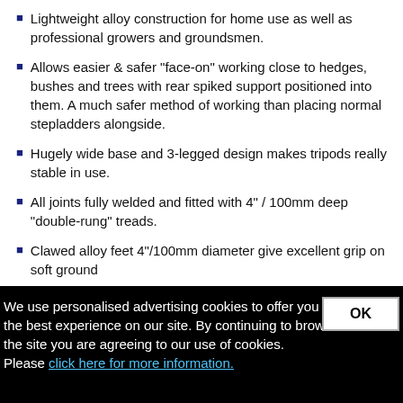Lightweight alloy construction for home use as well as professional growers and groundsmen.
Allows easier & safer "face-on" working close to hedges, bushes and trees with rear spiked support positioned into them. A much safer method of working than placing normal stepladders alongside.
Hugely wide base and 3-legged design makes tripods really stable in use.
All joints fully welded and fitted with 4" / 100mm deep "double-rung" treads.
Clawed alloy feet 4"/100mm diameter give excellent grip on soft ground
Adjustable height single rear leg is hinged at the top.  Can be adjusted in 6"/150mm intervals for levelling with min & max
We use personalised advertising cookies to offer you the best experience on our site. By continuing to browse the site you are agreeing to our use of cookies. Please click here for more information.